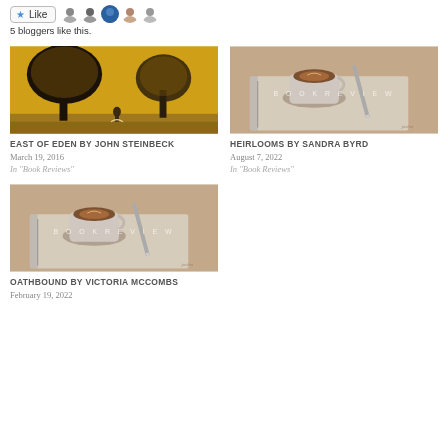5 bloggers like this.
[Figure (illustration): Book cover art for East of Eden – silhouette of person under large tree on yellow/orange background]
EAST OF EDEN BY JOHN STEINBECK
March 19, 2016
In "Book Reviews"
[Figure (photo): Book Review placeholder image – coffee cup latte art on notebook with pencil, warm toned]
HEIRLOOMS BY SANDRA BYRD
August 7, 2022
In "Book Reviews"
[Figure (photo): Book Review placeholder image – coffee cup latte art on notebook with pencil, warm toned (second instance)]
OATHBOUND BY VICTORIA MCCOMBS
February 19, 2022